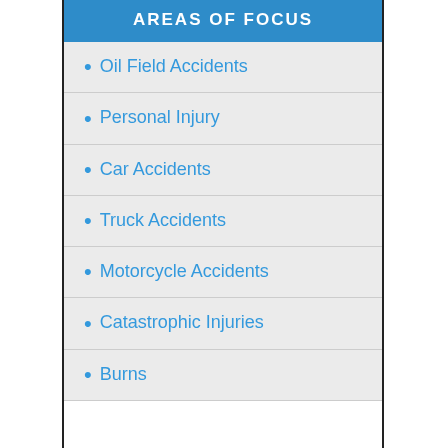AREAS OF FOCUS
Oil Field Accidents
Personal Injury
Car Accidents
Truck Accidents
Motorcycle Accidents
Catastrophic Injuries
Burns